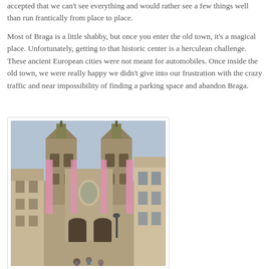accepted that we can't see everything and would rather see a few things well than run frantically from place to place.
Most of Braga is a little shabby, but once you enter the old town, it's a magical place. Unfortunately, getting to that historic center is a herculean challenge. These ancient European cities were not meant for automobiles. Once inside the old town, we were really happy we didn't give into our frustration with the crazy traffic and near impossibility of finding a parking space and abandon Braga.
[Figure (photo): Photo of a historic Baroque cathedral facade in Braga, Portugal. Two ornate stone bell towers flank the central facade. Pink decorative banners hang on the towers. A pedestrian street leads up to the entrance with people visible at the bottom. Buildings line both sides of the street.]